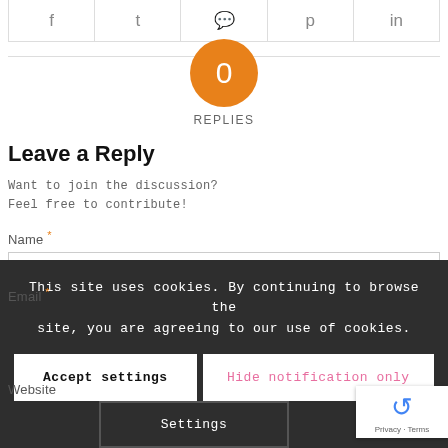[Figure (infographic): Social sharing icons bar with Facebook, Twitter, WhatsApp, Pinterest, and LinkedIn icons in a bordered row]
[Figure (infographic): Orange circle with '0' and 'REPLIES' label below]
Leave a Reply
Want to join the discussion?
Feel free to contribute!
Name *
Email *
Website
This site uses cookies. By continuing to browse the site, you are agreeing to our use of cookies.
Accept settings
Hide notification only
Settings